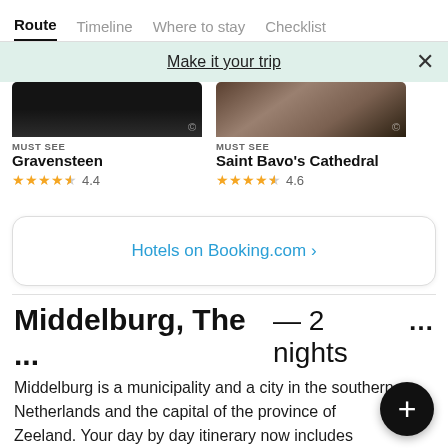Route | Timeline | Where to stay | Checklist
Make it your trip
[Figure (photo): Dark image of Gravensteen castle interior/exterior]
MUST SEE
Gravensteen
4.4
[Figure (photo): Image of Saint Bavo's Cathedral]
MUST SEE
Saint Bavo's Cathedral
4.6
Hotels on Booking.com ›
Middelburg, The ... — 2 nights ...
Middelburg is a municipality and a city in the southwestern Netherlands and the capital of the province of Zeeland. Your day by day itinerary now includes